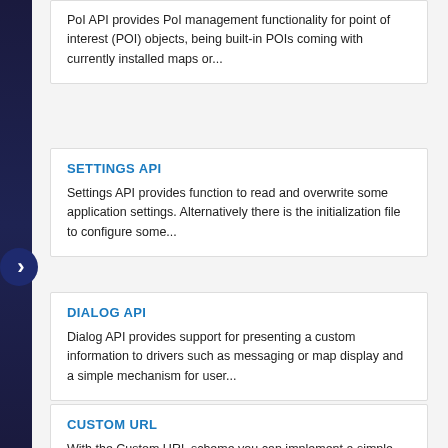PoI API provides PoI management functionality for point of interest (POI) objects, being built-in POIs coming with currently installed maps or...
SETTINGS API
Settings API provides function to read and overwrite some application settings. Alternatively there is the initialization file to configure some...
DIALOG API
Dialog API provides support for presenting a custom information to drivers such as messaging or map display and a simple mechanism for user...
CUSTOM URL
With the Custom URL scheme you can implement a simple integration of your application with Sygic navigation.